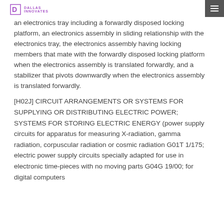Dallas Innovates
an electronics tray including a forwardly disposed locking platform, an electronics assembly in sliding relationship with the electronics tray, the electronics assembly having locking members that mate with the forwardly disposed locking platform when the electronics assembly is translated forwardly, and a stabilizer that pivots downwardly when the electronics assembly is translated forwardly.
[H02J] CIRCUIT ARRANGEMENTS OR SYSTEMS FOR SUPPLYING OR DISTRIBUTING ELECTRIC POWER; SYSTEMS FOR STORING ELECTRIC ENERGY (power supply circuits for apparatus for measuring X-radiation, gamma radiation, corpuscular radiation or cosmic radiation G01T 1/175; electric power supply circuits specially adapted for use in electronic time-pieces with no moving parts G04G 19/00; for digital computers